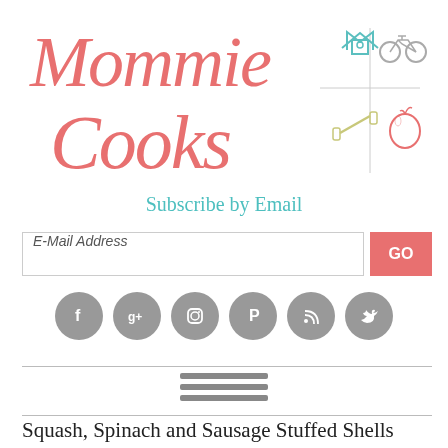[Figure (logo): Mommie Cooks logo with cursive pink text and four lifestyle icons: house, bicycle, dumbbell, apple]
Subscribe by Email
[Figure (infographic): Email subscription input field with placeholder 'E-Mail Address' and a coral GO button]
[Figure (infographic): Row of six gray circular social media icons: Facebook, Google+, Instagram, Pinterest, RSS, Twitter]
[Figure (infographic): Hamburger menu icon (three horizontal gray lines) between two horizontal rules]
Squash, Spinach and Sausage Stuffed Shells